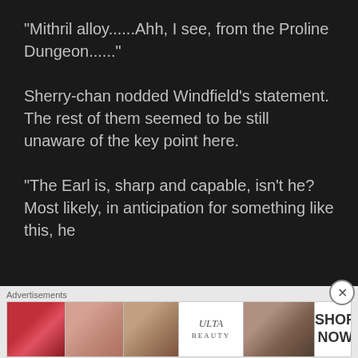“Mithril alloy......Ahh, I see, from the Proline Dungeon......”
Sherry-chan nodded Windfield’s statement. The rest of them seemed to be still unaware of the key point here.
“The Earl is, sharp and capable, isn’t he? Most likely, in anticipation for something like this, he
Advertisements
[Figure (other): Ulta Beauty advertisement banner showing makeup images (lips, brush, eye, Ulta logo, eyes) with SHOP NOW call to action]